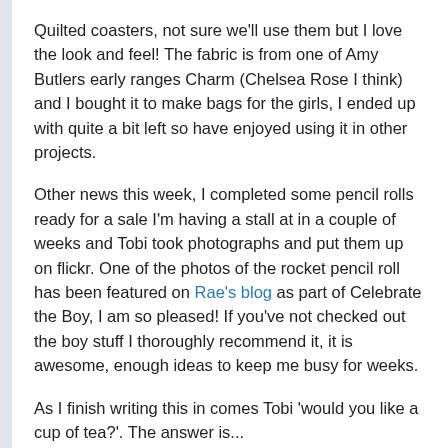Quilted coasters, not sure we'll use them but I love the look and feel!  The fabric is from one of Amy Butlers early ranges Charm (Chelsea Rose I think) and I bought it to make bags for the girls, I ended up with quite a bit left so have enjoyed using it in other projects.
Other news this week, I completed some pencil rolls ready for a sale I'm having a stall at in a couple of weeks and Tobi took photographs and put them up on flickr.  One of the photos of the rocket pencil roll has been featured on Rae's blog as part of Celebrate the Boy, I am so pleased!  If you've not checked out the boy stuff I thoroughly recommend it, it is awesome, enough ideas to keep me busy for weeks.
As I finish writing this in comes Tobi 'would you like a cup of tea?'.  The answer is...
Share and Enjoy:
[Figure (other): Social share icons (green checkmark/share, blue Facebook, red/white, black/white)]